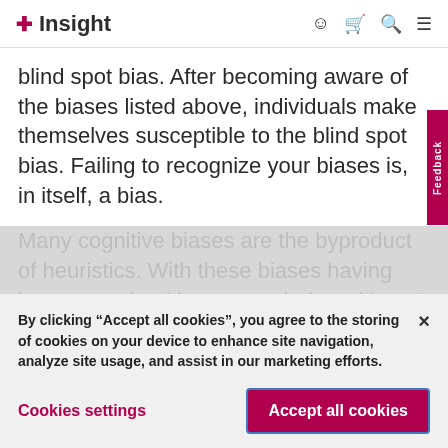Insight
blind spot bias. After becoming aware of the biases listed above, individuals make themselves susceptible to the blind spot bias. Failing to recognize your biases is, in itself, a bias.
Many cognitive biases are the byproduct of heuristics. With these biases having been engrained in our psychology, it's not enough to be only awa…
By clicking “Accept all cookies”, you agree to the storing of cookies on your device to enhance site navigation, analyze site usage, and assist in our marketing efforts.
Cookies settings
Accept all cookies